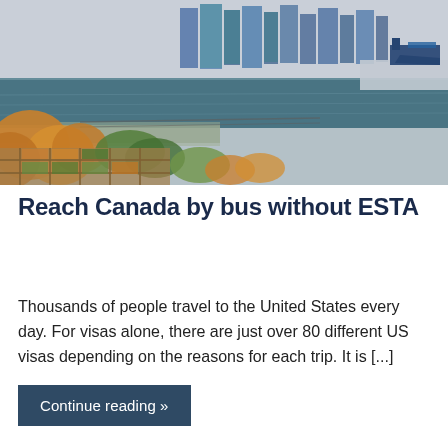[Figure (photo): Aerial/ground-level view of a waterfront urban park in Vancouver, Canada, with colorful autumn foliage, a seaplane dock, and city skyscrapers in the background.]
Reach Canada by bus without ESTA
Thousands of people travel to the United States every day. For visas alone, there are just over 80 different US visas depending on the reasons for each trip. It is [...]
Continue reading »